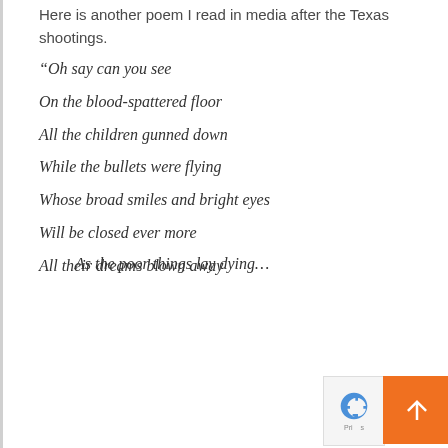Here is another poem I read in media after the Texas shootings.
“Oh say can you see
On the blood-spattered floor
All the children gunned down
While the bullets were flying
Whose broad smiles and bright eyes
Will be closed ever more
All their dreams blown away
As the poor things lay dying…